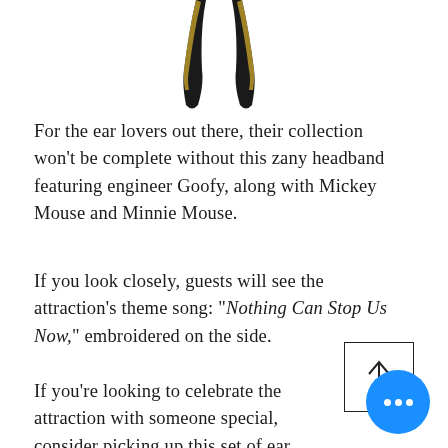[Figure (photo): Partial view of a Mickey/Goofy themed headband with black and gold colors, cropped at the top of the page]
For the ear lovers out there, their collection won't be complete without this zany headband featuring engineer Goofy, along with Mickey Mouse and Minnie Mouse.
If you look closely, guests will see the attraction's theme song: "Nothing Can Stop Us Now," embroidered on the side.
If you're looking to celebrate the attraction with someone special, consider picking up this set of ear headbands, perfect for the Mickey Minnie in your life.